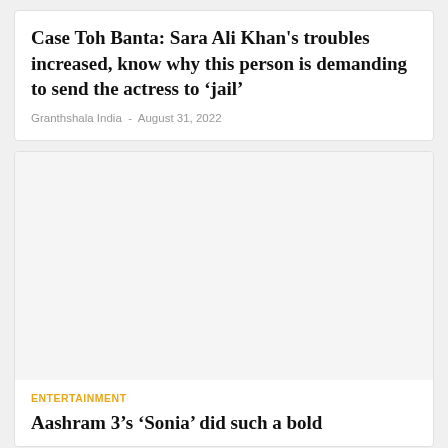Case Toh Banta: Sara Ali Khan's troubles increased, know why this person is demanding to send the actress to 'jail'
Granthshala India  -  August 31, 2022
[Figure (photo): Large image placeholder area within a card, appears blank/light gray]
ENTERTAINMENT
Aashram 3's 'Sonia' did such a bold